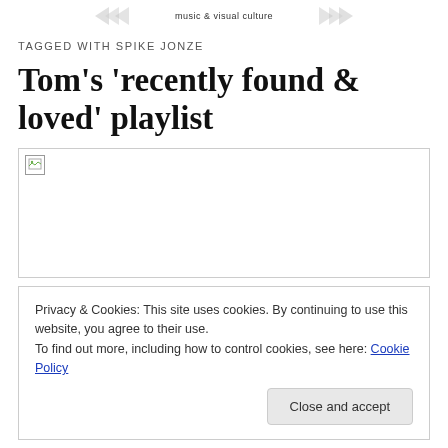music & visual culture
TAGGED WITH SPIKE JONZE
Tom's 'recently found & loved' playlist
[Figure (photo): Broken image placeholder with small broken image icon in top-left corner, bordered box]
Privacy & Cookies: This site uses cookies. By continuing to use this website, you agree to their use.
To find out more, including how to control cookies, see here: Cookie Policy
Close and accept